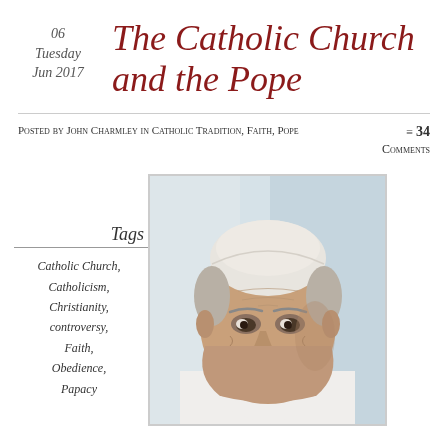06
Tuesday
Jun 2017
The Catholic Church and the Pope
Posted by John Charmley in Catholic Tradition, Faith, Pope
≡ 34 Comments
Tags
Catholic Church,
Catholicism,
Christianity,
controversy,
Faith,
Obedience,
Papacy
[Figure (photo): Portrait photo of Pope Francis wearing white papal vestments and zucchetto, looking to the side with a slight expression, against a light background.]